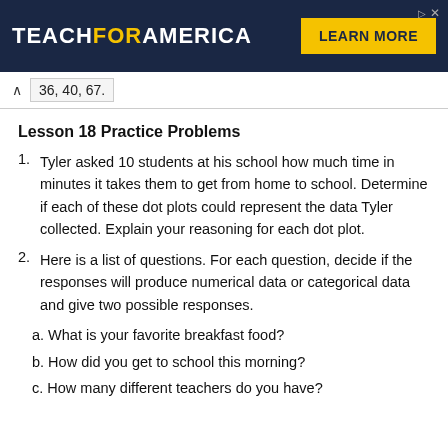[Figure (other): Teach For America advertisement banner with dark navy background, white bold logo text 'TEACHFORAMERICA' with 'FOR' in yellow, and a yellow 'LEARN MORE' button on the right side.]
36, 40, 67.
Lesson 18 Practice Problems
Tyler asked 10 students at his school how much time in minutes it takes them to get from home to school. Determine if each of these dot plots could represent the data Tyler collected. Explain your reasoning for each dot plot.
Here is a list of questions. For each question, decide if the responses will produce numerical data or categorical data and give two possible responses.
a. What is your favorite breakfast food?
b. How did you get to school this morning?
c. How many different teachers do you have?